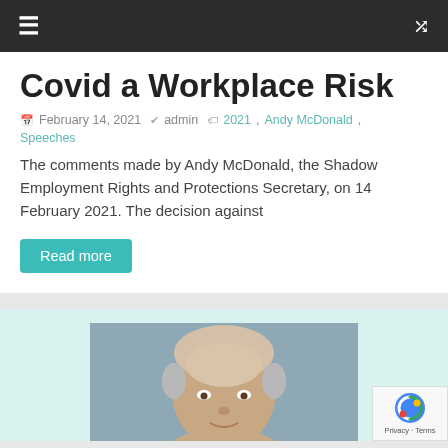≡  ⇌
Covid a Workplace Risk
February 14, 2021   admin   2021, Andy McDonald, Speeches
The comments made by Andy McDonald, the Shadow Employment Rights and Protections Secretary, on 14 February 2021. The decision against
Read more
[Figure (photo): Photograph of a man with grey/white hair, bald on top, set against a grey-blue background. Partially cropped showing head and upper shoulders.]